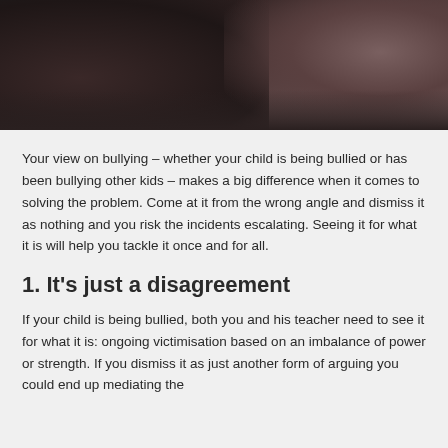[Figure (photo): Dark-toned photo showing a child's face/neck area, dimly lit with brown and dark tones]
Your view on bullying – whether your child is being bullied or has been bullying other kids – makes a big difference when it comes to solving the problem. Come at it from the wrong angle and dismiss it as nothing and you risk the incidents escalating. Seeing it for what it is will help you tackle it once and for all.
1. It's just a disagreement
If your child is being bullied, both you and his teacher need to see it for what it is: ongoing victimisation based on an imbalance of power or strength. If you dismiss it as just another form of arguing you could end up mediating the